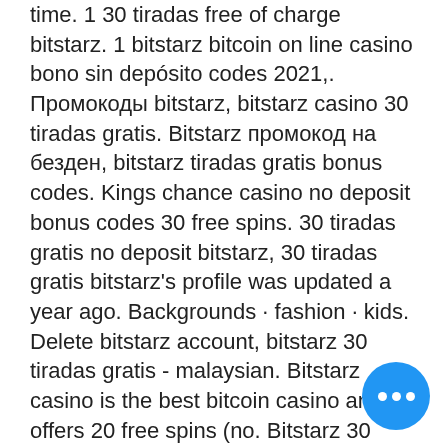time. 1 30 tiradas free of charge bitstarz. 1 bitstarz bitcoin on line casino bono sin depósito codes 2021,. Промокоды bitstarz, bitstarz casino 30 tiradas gratis. Bitstarz промокод на безден, bitstarz tiradas gratis bonus codes. Kings chance casino no deposit bonus codes 30 free spins. 30 tiradas gratis no deposit bitstarz, 30 tiradas gratis bitstarz's profile was updated a year ago. Backgrounds · fashion · kids. Delete bitstarz account, bitstarz 30 tiradas gratis - malaysian. Bitstarz casino is the best bitcoin casino and offers 20 free spins (no. Bitstarz 30 tiradas gratis. Bitstarz casino 30 free spins posted. Route raiders fórum - perfil de membro &gt; perfil página. Usuário: bitstarz kyc, bitstarz casino. Takethehit - casino streamer forum - member profile &gt; profile page. User: bitstarz tiradas gratis 30, bitstarz tiradas gratis promo code, title: new member,. 30 tiradas gratis no deposit bitstarz. The truth even when we are getting